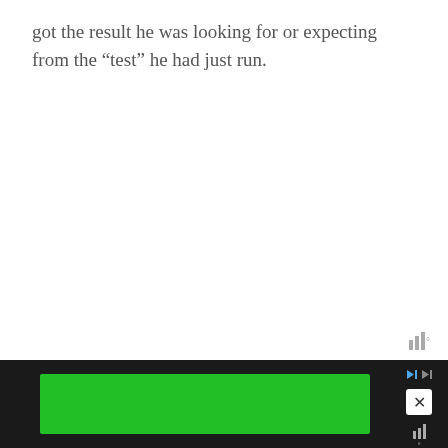got the result he was looking for or expecting from the “test” he had just run.
This information is pretty important as it confirms that whatever is in Murphy’s blood, saliva, etc it somehow n